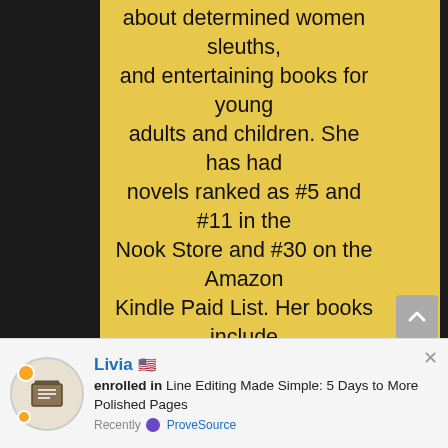about determined women sleuths, and entertaining books for young adults and children. She has had novels ranked as #5 and #11 in the Nook Store and #30 on the Amazon Kindle Paid List. Her books include the Storybook Valley chick lit series and the Hockey Rivals young adult sports novels.

Stacy is also a freelance developmental editor, online writing instructor, and an award-winning journalist. Join her Facebook group for writers and also be sure to sign
Livia enrolled in Line Editing Made Simple: 5 Days to More Polished Pages Recently ProveSource